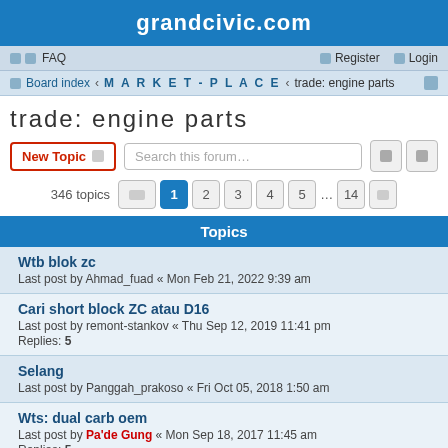grandcivic.com
FAQ   Register   Login
Board index › MARKET-PLACE › trade: engine parts
trade: engine parts
New Topic  Search this forum…
346 topics  1  2  3  4  5  ...  14
Topics
Wtb blok zc
Last post by Ahmad_fuad « Mon Feb 21, 2022 9:39 am
Cari short block ZC atau D16
Last post by remont-stankov « Thu Sep 12, 2019 11:41 pm
Replies: 5
Selang
Last post by Panggah_prakoso « Fri Oct 05, 2018 1:50 am
Wts: dual carb oem
Last post by Pa'de Gung « Mon Sep 18, 2017 11:45 am
Replies: 5
WTS : civic SH4 parts catalogue